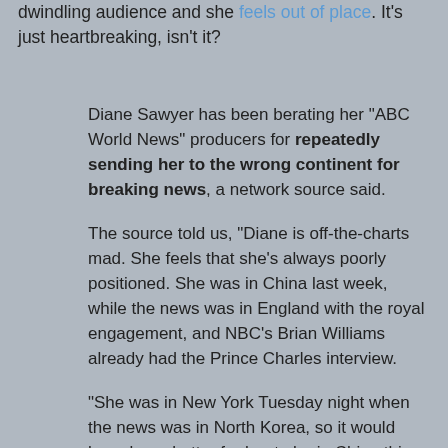dwindling audience and she feels out of place. It's just heartbreaking, isn't it?
Diane Sawyer has been berating her "ABC World News" producers for repeatedly sending her to the wrong continent for breaking news, a network source said.
The source told us, "Diane is off-the-charts mad. She feels that she's always poorly positioned. She was in China last week, while the news was in England with the royal engagement, and NBC's Brian Williams already had the Prince Charles interview.
"She was in New York Tuesday night when the news was in North Korea, so it would have been better for her to be in China this week.
"She was even throwing around that she was in Afghanistan when the Haiti quake happened. It's impossible to predict breaking news, but she